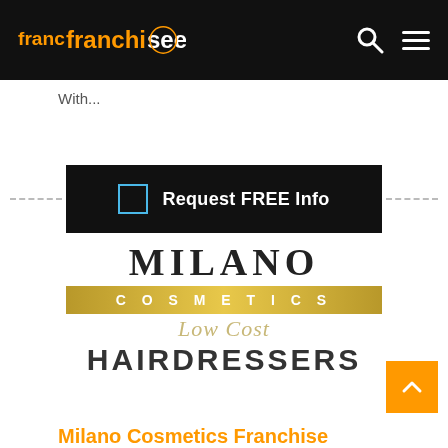franchiseek
With...
[Figure (screenshot): Black button with checkbox icon and text 'Request FREE Info']
[Figure (logo): Milano Cosmetics Low Cost Hairdressers logo — 'MILANO' in large serif black letters, 'COSMETICS' in gold banner, 'Low Cost' in italic script, 'HAIRDRESSERS' in large sans-serif letters]
Milano Cosmetics Franchise